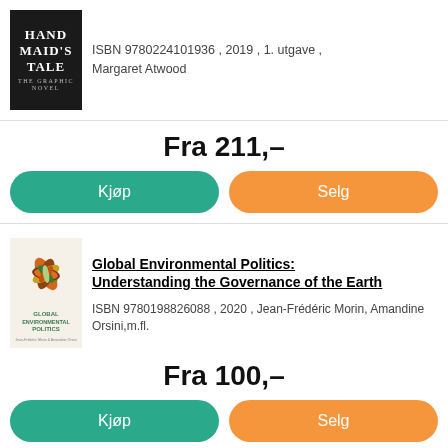[Figure (illustration): Book cover of The Handmaid's Tale graphic novel - dark/black background with white text]
ISBN 9780224101936 , 2019 , 1. utgave , Margaret Atwood
Fra 211,–
Kjøp
Selg
[Figure (illustration): Book cover of Global Environmental Politics - cream/white background with colorful leaf/nature illustration, orange and green text]
Global Environmental Politics: Understanding the Governance of the Earth
ISBN 9780198826088 , 2020 , Jean-Frédéric Morin, Amandine Orsini,m.fl.
Fra 100,–
Kjøp
Selg